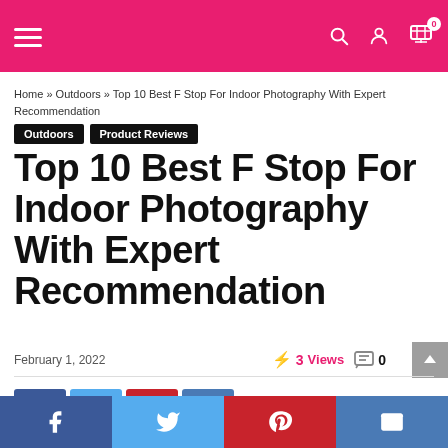Navigation bar with hamburger menu, search, account, and cart icons
Home » Outdoors » Top 10 Best F Stop For Indoor Photography With Expert Recommendation
Outdoors  Product Reviews
Top 10 Best F Stop For Indoor Photography With Expert Recommendation
February 1, 2022  3 Views  0
Share buttons: Facebook, Twitter, Pinterest, Email
Bottom share bar: Facebook, Twitter, Pinterest, Email